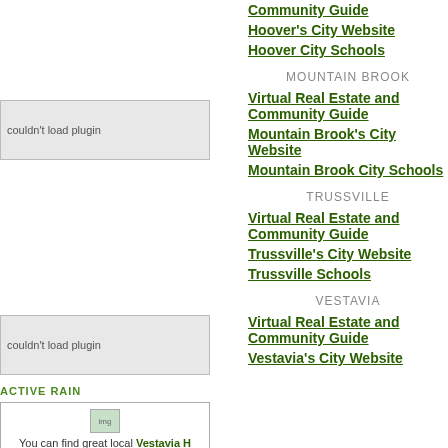Community Guide
Hoover's City Website
Hoover City Schools
[Figure (other): Couldn't load plugin placeholder box (top left)]
MOUNTAIN BROOK
Virtual Real Estate and Community Guide
Mountain Brook's City Website
Mountain Brook City Schools
[Figure (other): Couldn't load plugin placeholder box (middle left)]
TRUSSVILLE
Virtual Real Estate and Community Guide
Trussville's City Website
Trussville Schools
ACTIVE RAIN
You can find great local Vestavia Hills real estate information on Localism.com Alabama Real Estate Jason Secor is the ActiveRain Real Estate Network community to help real estate professionals grow their business.
VESTAVIA
Virtual Real Estate and Community Guide
Vestavia's City Website